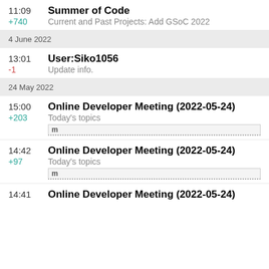11:09 Summer of Code
+740 Current and Past Projects: Add GSoC 2022
4 June 2022
13:01 User:Siko1056
-1 Update info.
24 May 2022
15:00 Online Developer Meeting (2022-05-24)
+203 Today's topics m
14:42 Online Developer Meeting (2022-05-24)
+97 Today's topics m
14:41 Online Developer Meeting (2022-05-24)